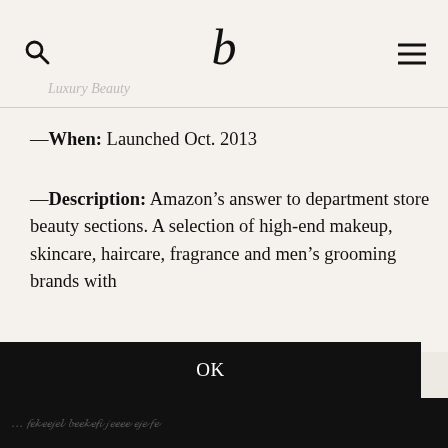b — Luxury Beauty
—When: Launched Oct. 2013
—Description: Amazon's answer to department store beauty sections. A selection of high-end makeup, skincare, haircare, fragrance and men's grooming brands with
This website uses cookies to ensure that you get the best experience. By continuing to browse the site you are agreeing to our use of cookies.  Learn More
OK